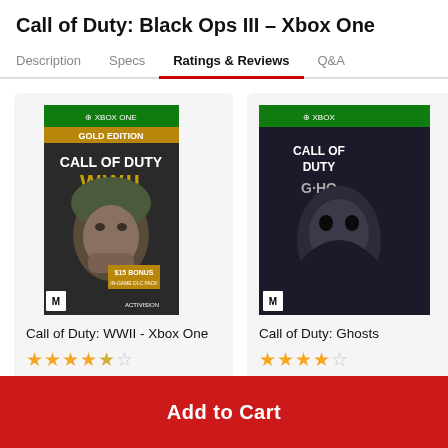Call of Duty: Black Ops III – Xbox One
Description | Specs | Ratings & Reviews | Q&A
[Figure (screenshot): Product card for Call of Duty: WWII - Xbox One Gold Edition showing game box art with a soldier wearing a helmet, XBOX ONE label, GOLD EDITION banner, M rating, $15 bonus offer, and Activision logo]
Call of Duty: WWII - Xbox One
★★★★½
[Figure (screenshot): Partially visible product card for Call of Duty: Ghosts on Xbox One showing game box art with a masked figure]
Call of Duty: Ghosts
★★★★☆
Add to Cart